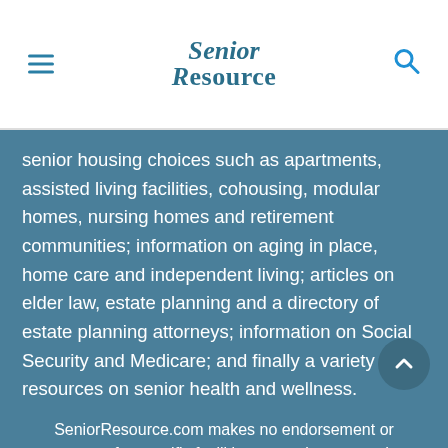Senior Resource
senior housing choices such as apartments, assisted living facilities, cohousing, modular homes, nursing homes and retirement communities; information on aging in place, home care and independent living; articles on elder law, estate planning and a directory of estate planning attorneys; information on Social Security and Medicare; and finally a variety of resources on senior health and wellness.
SeniorResource.com makes no endorsement or guarantees for specific facilities or services or products found on or linked to this site, although our information strives for accuracy, integrity, and the latest industry trends. Listings, advertisements, and links are meant to be informational and are not an offer, including in states